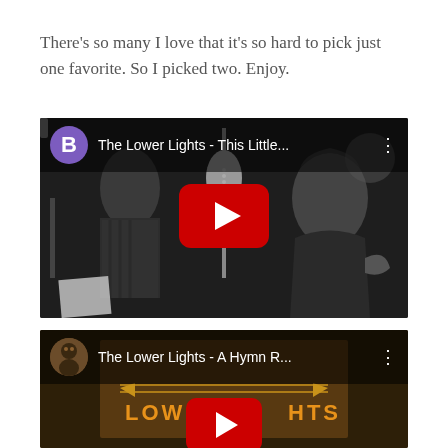There’s so many I love that it’s so hard to pick just one favorite. So I picked two. Enjoy.
[Figure (screenshot): YouTube video thumbnail for 'The Lower Lights - This Little...' showing a black and white studio recording photo with a play button overlay]
[Figure (screenshot): YouTube video thumbnail for 'The Lower Lights - A Hymn R...' showing a golden/brown album art with partial red YouTube play button at bottom]